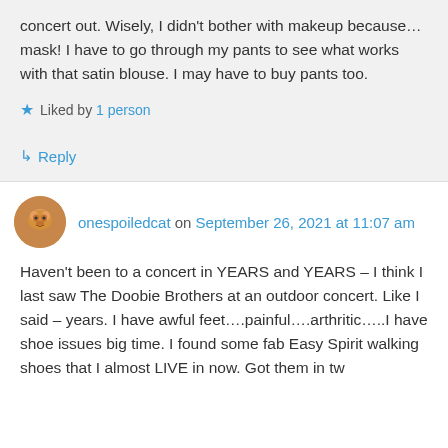concert out. Wisely, I didn't bother with makeup because…mask! I have to go through my pants to see what works with that satin blouse. I may have to buy pants too.
Liked by 1 person
Reply
onespoiledcat on September 26, 2021 at 11:07 am
Haven't been to a concert in YEARS and YEARS – I think I last saw The Doobie Brothers at an outdoor concert. Like I said – years. I have awful feet….painful….arthritic…..I have shoe issues big time. I found some fab Easy Spirit walking shoes that I almost LIVE in now. Got them in tw